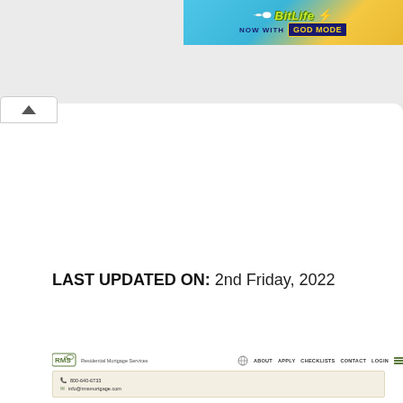[Figure (screenshot): BitLife game advertisement banner — blue/yellow background with sperm mascot, 'BitLife' in green italic text, 'NOW WITH GOD MODE' in yellow on dark blue box with lightning bolt]
LAST UPDATED ON: 2nd Friday, 2022
[Figure (screenshot): RMS Residential Mortgage Services website navigation bar with logo, About, Apply, Checklists, Contact, Login links and hamburger menu]
800-640-6733
info@rmsmortgage.com